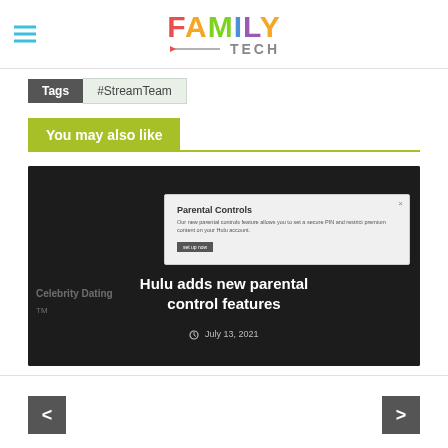FAMILY TECH
Tags #StreamTeam
You may also like
[Figure (screenshot): Dark themed article card showing Hulu parental controls dialog screenshot with article title 'Hulu adds new parental control features' and date July 13, 2021]
< >